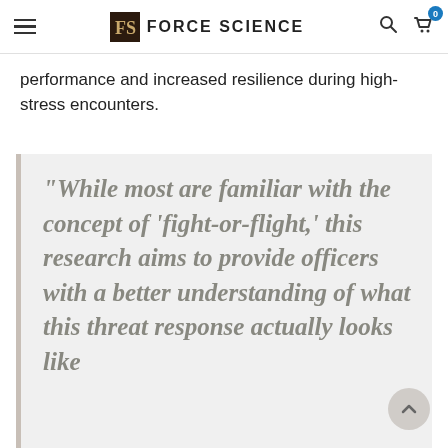FORCE SCIENCE
performance and increased resilience during high-stress encounters.
“While most are familiar with the concept of ‘fight-or-flight,’ this research aims to provide officers with a better understanding of what this threat response actually looks like…